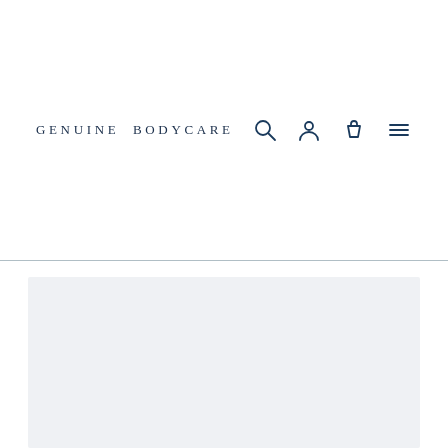GENUINE BODYCARE
[Figure (screenshot): Website navigation bar with brand name GENUINE BODYCARE and icons for search, account, cart, and menu]